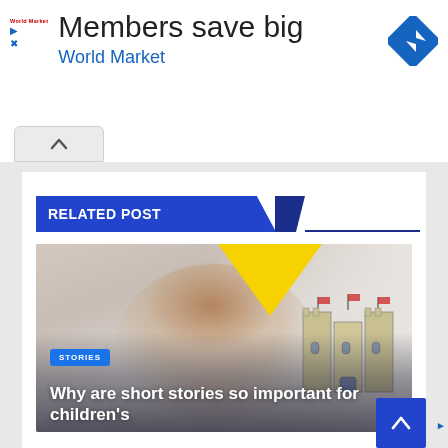[Figure (screenshot): Advertisement banner: 'Members save big / World Market' with logo and navigation diamond icon]
[Figure (screenshot): Collapse/accordion button (up chevron)]
RELATED POST
[Figure (photo): Article thumbnail showing a child with short stories castle illustration. STORIES badge and title 'Why are short stories so important for children's' overlaid on image.]
STORIES
Why are short stories so important for children's